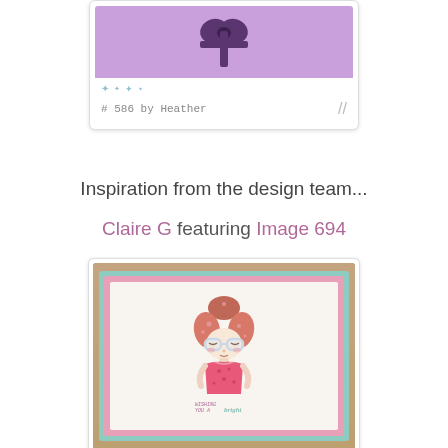[Figure (illustration): A crafting card with a purple gift/present design at top, small teal star decorations, and the text '# 586 by Heather' at bottom with a pencil illustration]
Inspiration from the design team...
Claire G featuring Image 694
[Figure (photo): A handmade greeting card featuring a cartoon girl character with pink hair, large glasses and a pink polka-dot outfit, with text 'WISHING YOU A bright...' in pink/teal color scheme]